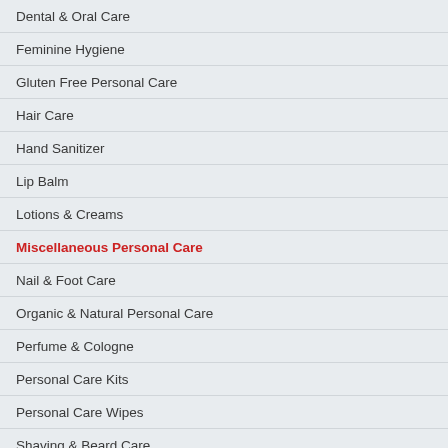Dental & Oral Care
Feminine Hygiene
Gluten Free Personal Care
Hair Care
Hand Sanitizer
Lip Balm
Lotions & Creams
Miscellaneous Personal Care
Nail & Foot Care
Organic & Natural Personal Care
Perfume & Cologne
Personal Care Kits
Personal Care Wipes
Shaving & Beard Care
Soap, Cleanser, Wash
Food
B...